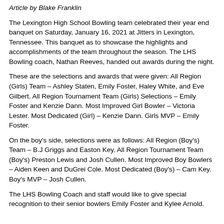Article by Blake Franklin
The Lexington High School Bowling team celebrated their year end banquet on Saturday, January 16, 2021 at Jitters in Lexington, Tennessee. This banquet as to showcase the highlights and accomplishments of the team throughout the season. The LHS Bowling coach, Nathan Reeves, handed out awards during the night.
These are the selections and awards that were given: All Region (Girls) Team – Ashley Staten, Emily Foster, Haley White, and Eve Gilbert. All Region Tournament Team (Girls) Selections – Emily Foster and Kenzie Dann. Most Improved Girl Bowler – Victoria Lester. Most Dedicated (Girl) – Kenzie Dann. Girls MVP – Emily Foster.
On the boy's side, selections were as follows: All Region (Boy's) Team – B.J Griggs and Easton Key. All Region Tournament Team (Boy's) Preston Lewis and Josh Cullen. Most Improved Boy Bowlers – Aiden Keen and DuGrei Cole. Most Dedicated (Boy's) – Cam Key. Boy's MVP – Josh Cullen.
The LHS Bowling Coach and staff would like to give special recognition to their senior bowlers Emily Foster and Kylee Arnold.